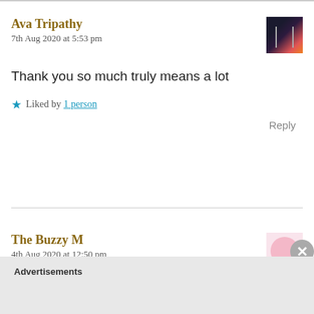Ava Tripathy
7th Aug 2020 at 5:53 pm
Thank you so much truly means a lot
Liked by 1 person
Reply
The Buzzy M
4th Aug 2020 at 12:50 pm
You covered a very important topic dear Ava!. Self-doub
Advertisements